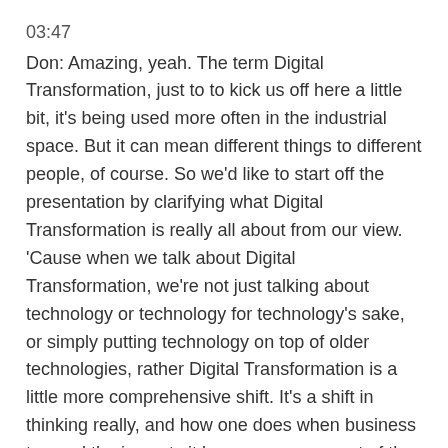03:47
Don: Amazing, yeah. The term Digital Transformation, just to to kick us off here a little bit, it's being used more often in the industrial space. But it can mean different things to different people, of course. So we'd like to start off the presentation by clarifying what Digital Transformation is really all about from our view. 'Cause when we talk about Digital Transformation, we're not just talking about technology or technology for technology's sake, or simply putting technology on top of older technologies, rather Digital Transformation is a little more comprehensive shift. It's a shift in thinking really, and how one does when business too and the impacts it has on every aspect of the business.